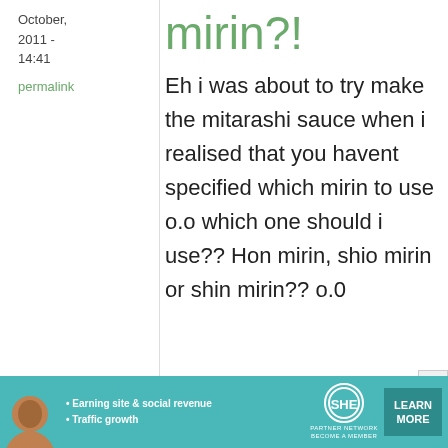October, 2011 - 14:41
permalink
mirin?!
Eh i was about to try make the mitarashi sauce when i realised that you havent specified which mirin to use o.o which one should i use?? Hon mirin, shio mirin or shin mirin?? o.0
[Figure (infographic): Advertisement banner for SHE Partner Network with text about Earning site & social revenue and Traffic growth and a Learn More button]